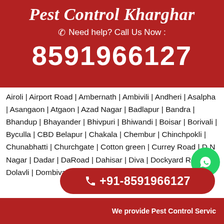Pest Control Kharghar
Need help? Call Us Now :
8591966127
Airoli | Airport Road | Ambernath | Ambivili | Andheri | Asalpha | Asangaon | Atgaon | Azad Nagar | Badlapur | Bandra | Bhandup | Bhayander | Bhivpuri | Bhiwandi | Boisar | Borivali | Byculla | CBD Belapur | Chakala | Chembur | Chinchpokli | Chunabhatti | Churchgate | Cotton green | Currey Road | D N Nagar | Dadar | Da... Road | Dahisar | Diva | Dockyard Road | Dolavli | Dombivali | Elphin... | Ghodbunder Road |
+91-8591966127
We provide Pest Control Servic